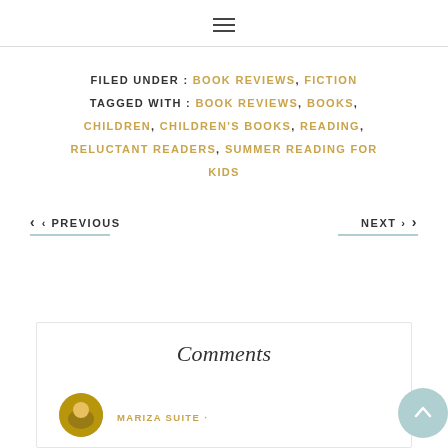[Figure (other): Hamburger menu icon (three horizontal lines)]
FILED UNDER: BOOK REVIEWS, FICTION
TAGGED WITH: BOOK REVIEWS, BOOKS, CHILDREN, CHILDREN'S BOOKS, READING, RELUCTANT READERS, SUMMER READING FOR KIDS
‹ PREVIOUS
NEXT ›
Comments
MARIZA SUITE ·